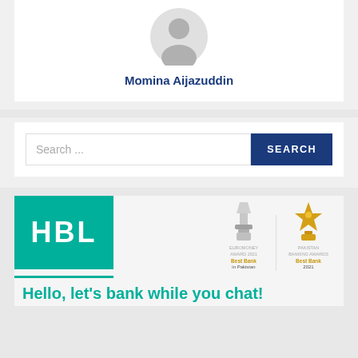[Figure (illustration): User profile card with generic gray avatar icon and name Momina Aijazuddin in bold blue text]
Momina Aijazuddin
[Figure (screenshot): Search bar with placeholder text 'Search ...' and a dark blue SEARCH button]
[Figure (logo): HBL bank banner with teal/green HBL logo box on the left, award trophies for Euromoney Award 2021 Best Bank in Pakistan and Pakistan Banking Awards Best Bank 2021 on the right, teal divider line, and partial tagline 'Hello, let's bank while you chat!']